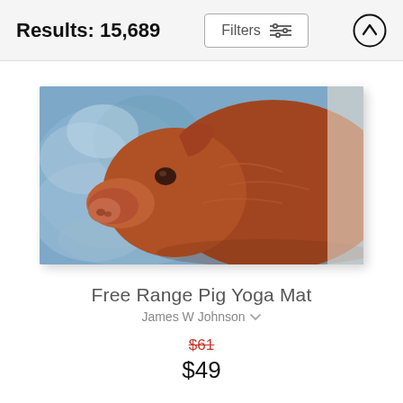Results: 15,689
[Figure (illustration): Painting of a red/brown pig in profile against a blue impressionist background, used as a yoga mat product image.]
Free Range Pig Yoga Mat
James W Johnson
$61 $49